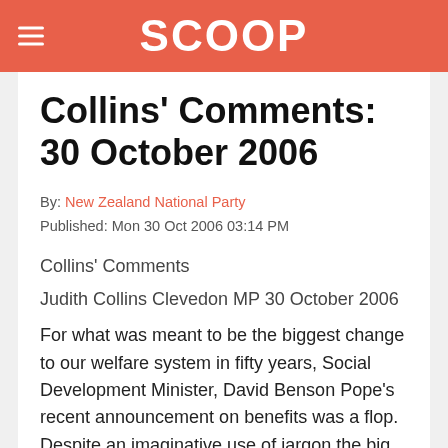SCOOP
Collins' Comments: 30 October 2006
By: New Zealand National Party
Published: Mon 30 Oct 2006 03:14 PM
Collins' Comments
Judith Collins Clevedon MP 30 October 2006
For what was meant to be the biggest change to our welfare system in fifty years, Social Development Minister, David Benson Pope's recent announcement on benefits was a flop. Despite an imaginative use of jargon the big secret was the supposed “new”idea of having a job search service to help those able people